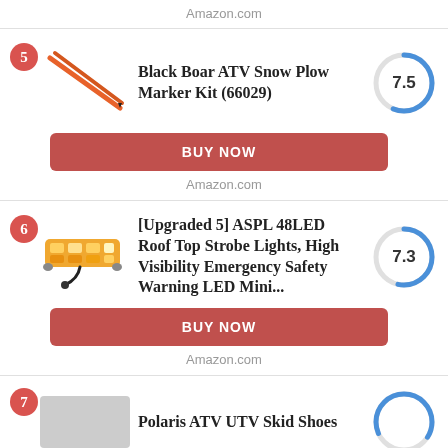Amazon.com
5 – Black Boar ATV Snow Plow Marker Kit (66029)
BUY NOW
Amazon.com
6 – [Upgraded 5] ASPL 48LED Roof Top Strobe Lights, High Visibility Emergency Safety Warning LED Mini...
BUY NOW
Amazon.com
7 – Polaris ATV UTV Skid Shoes